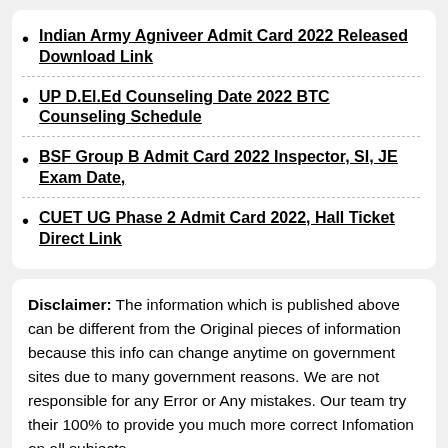Indian Army Agniveer Admit Card 2022 Released Download Link
UP D.El.Ed Counseling Date 2022 BTC Counseling Schedule
BSF Group B Admit Card 2022 Inspector, SI, JE Exam Date,
CUET UG Phase 2 Admit Card 2022, Hall Ticket Direct Link
Disclaimer: The information which is published above can be different from the Original pieces of information because this info can change anytime on government sites due to many government reasons. We are not responsible for any Error or Any mistakes. Our team try their 100% to provide you much more correct Infomation on all subjects.
Join us on Telegram